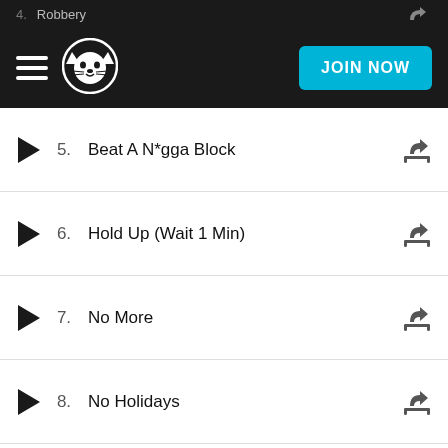Napster — JOIN NOW
5. Beat A N*gga Block
6. Hold Up (Wait 1 Min)
7. No More
8. No Holidays
9. Mixed Personalities (feat. Kanye West)